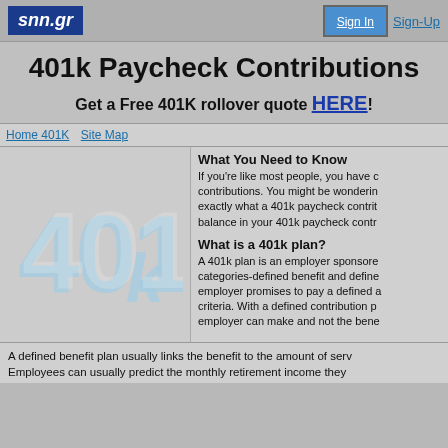snn.gr | Sign In | Sign-Up
401k Paycheck Contributions
Get a Free 401K rollover quote HERE!
Home 401K   Site Map
[Figure (illustration): Large light-blue stylized '401k' text graphic]
What You Need to Know
If you're like most people, you have contributions. You might be wondering exactly what a 401k paycheck contrib balance in your 401k paycheck contr
What is a 401k plan?
A 401k plan is an employer sponsore categories-defined benefit and define employer promises to pay a defined a criteria. With a defined contribution p employer can make and not the bene
A defined benefit plan usually links the benefit to the amount of serv Employees can usually predict the monthly retirement income they